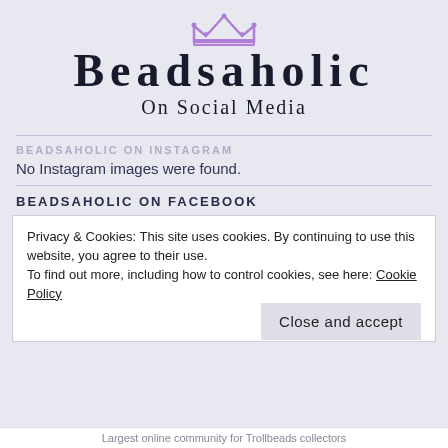BEADSAHOLIC On Social Media
BEADSAHOLIC ON INSTAGRAM
No Instagram images were found.
BEADSAHOLIC ON FACEBOOK
Privacy & Cookies: This site uses cookies. By continuing to use this website, you agree to their use.
To find out more, including how to control cookies, see here: Cookie Policy
Close and accept
Largest online community for Trollbeads collectors